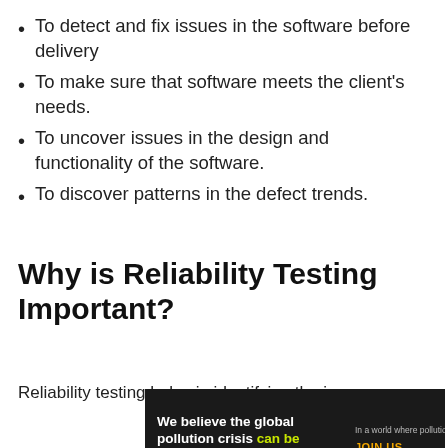To detect and fix issues in the software before delivery
To make sure that software meets the client's needs.
To uncover issues in the design and functionality of the software.
To discover patterns in the defect trends.
Why is Reliability Testing Important?
Reliability testing helps in identifying the issues
[Figure (infographic): Advertisement banner for Pure Earth: 'We believe the global pollution crisis can be solved.' with logo and call to action 'JOIN US.']